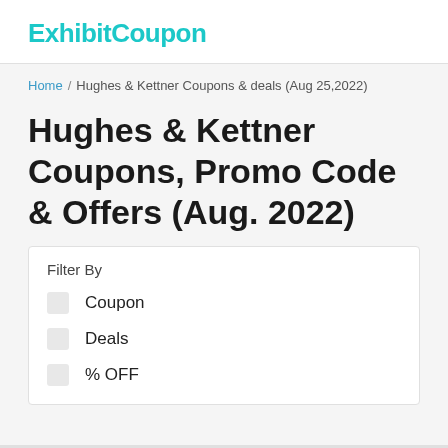ExhibitCoupon
Home / Hughes & Kettner Coupons & deals (Aug 25,2022)
Hughes & Kettner Coupons, Promo Code & Offers (Aug. 2022)
Filter By
Coupon
Deals
% OFF